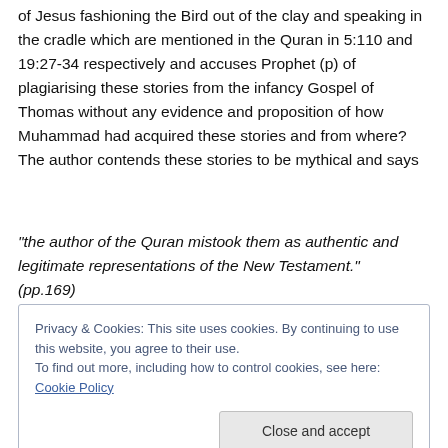of Jesus fashioning the Bird out of the clay and speaking in the cradle which are mentioned in the Quran in 5:110 and 19:27-34 respectively and accuses Prophet (p) of plagiarising these stories from the infancy Gospel of Thomas without any evidence and proposition of how Muhammad had acquired these stories and from where? The author contends these stories to be mythical and says
“the author of the Quran mistook them as authentic and legitimate representations of the New Testament.” (pp.169)
Privacy & Cookies: This site uses cookies. By continuing to use this website, you agree to their use. To find out more, including how to control cookies, see here: Cookie Policy
Close and accept